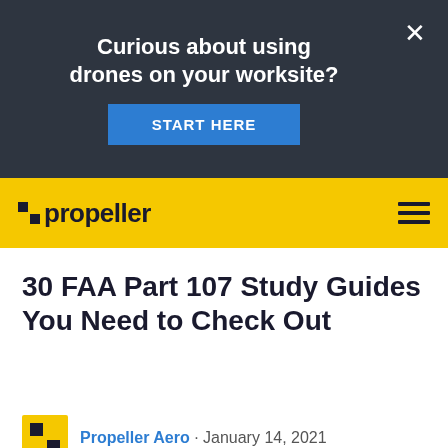[Figure (screenshot): Dark banner ad with text 'Curious about using drones on your worksite?' and a blue 'START HERE' button, with a white X close button]
propeller
30 FAA Part 107 Study Guides You Need to Check Out
Propeller Aero · January 14, 2021